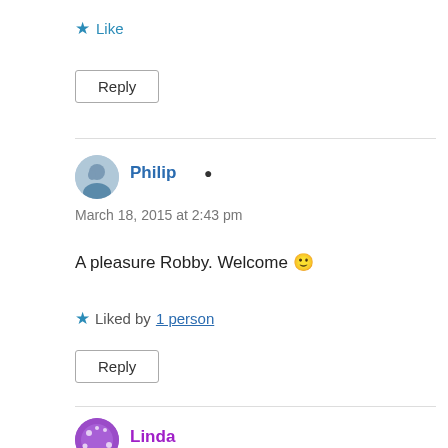★ Like
Reply
Philip
March 18, 2015 at 2:43 pm
A pleasure Robby. Welcome 🙂
Liked by 1 person
Reply
Linda